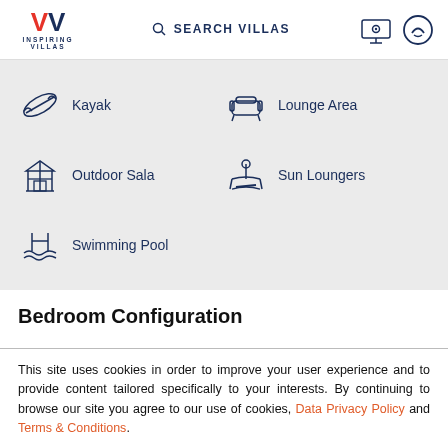INSPIRING VILLAS | SEARCH VILLAS
Kayak
Lounge Area
Outdoor Sala
Sun Loungers
Swimming Pool
Bedroom Configuration
This site uses cookies in order to improve your user experience and to provide content tailored specifically to your interests. By continuing to browse our site you agree to our use of cookies, Data Privacy Policy and Terms & Conditions.